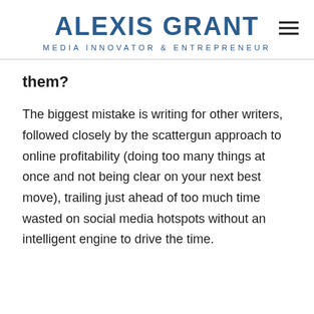ALEXIS GRANT
MEDIA INNOVATOR & ENTREPRENEUR
them?
The biggest mistake is writing for other writers, followed closely by the scattergun approach to online profitability (doing too many things at once and not being clear on your next best move), trailing just ahead of too much time wasted on social media hotspots without an intelligent engine to drive the time.